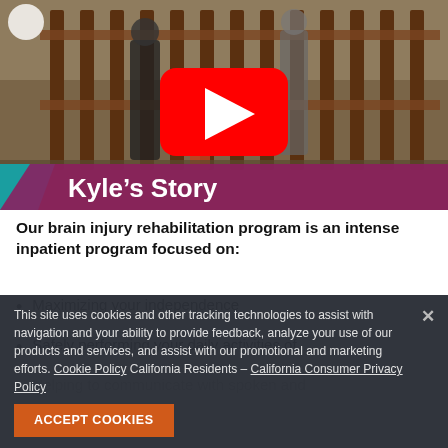[Figure (screenshot): YouTube video thumbnail showing two adults walking with a child near a wooden fence outdoors. A red YouTube play button is centered. A teal and purple banner at the bottom reads 'Kyle's Story' in bold white text.]
Our brain injury rehabilitation program is an intense inpatient program focused on:
Maximizing your independence
Safely performing your daily activities of
Helping to communicate with spoken and wri...
Swallowing
This site uses cookies and other tracking technologies to assist with navigation and your ability to provide feedback, analyze your use of our products and services, and assist with our promotional and marketing efforts. Cookie Policy California Residents – California Consumer Privacy Policy